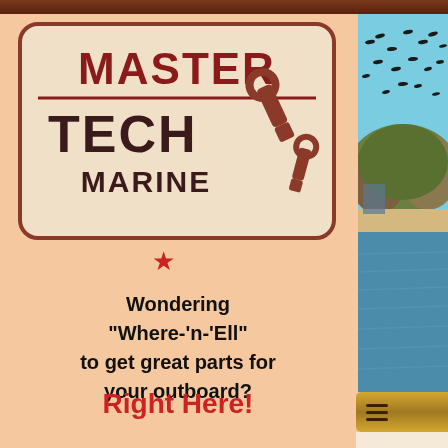[Figure (logo): Master Tech Marine logo with wrench in rounded rectangle box]
[Figure (photo): Coastal scene with birds flying over water and trees, blue sky]
Wondering "Where-'n-'Ell" to get great parts for your outboard?
Right Here!
[Figure (other): Navigation menu bar with hamburger icon]
A Fun Old Porcelain Sign and Ancient Tools
[Figure (photo): Wanted: Good sign image preview at bottom]